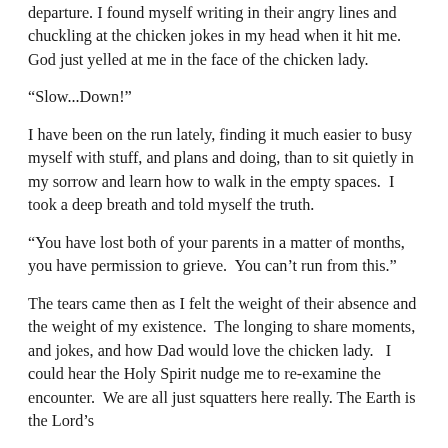departure. I found myself writing in their angry lines and chuckling at the chicken jokes in my head when it hit me. God just yelled at me in the face of the chicken lady.
“Slow...Down!”
I have been on the run lately, finding it much easier to busy myself with stuff, and plans and doing, than to sit quietly in my sorrow and learn how to walk in the empty spaces.  I took a deep breath and told myself the truth.
“You have lost both of your parents in a matter of months, you have permission to grieve.  You can’t run from this.”
The tears came then as I felt the weight of their absence and the weight of my existence.  The longing to share moments, and jokes, and how Dad would love the chicken lady.   I could hear the Holy Spirit nudge me to re-examine the encounter.  We are all just squatters here really. The Earth is the Lord’s and the fullness thereof, and his is our home to rent really.